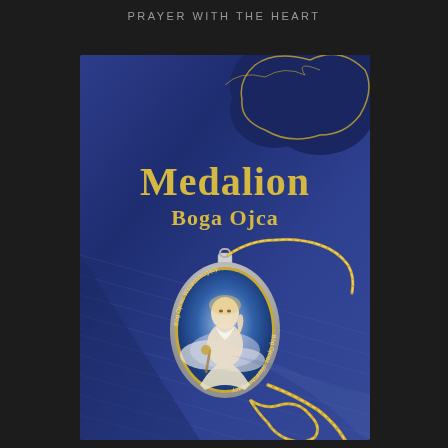PRAYER WITH THE HEART
[Figure (photo): Book cover titled 'Medalion Boga Ojca' (Medallion of God the Father) showing a blue/navy cover with dark cloud shapes in the upper right outlined in gold, large gold text title, and a photograph of a silver and enamel medallion/pendant on a gold chain. The medallion depicts God the Father (an elderly bearded figure) against a blue background with text 'Bóg Ojciec Wszechmogący' around the oval.]